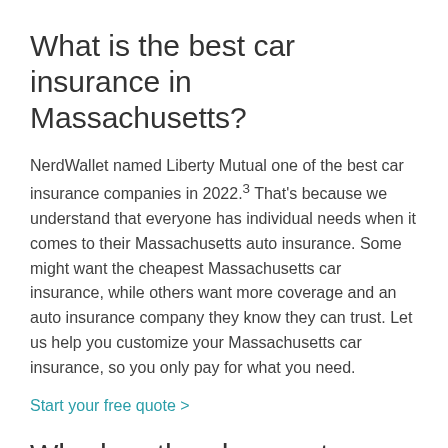What is the best car insurance in Massachusetts?
NerdWallet named Liberty Mutual one of the best car insurance companies in 2022.³ That's because we understand that everyone has individual needs when it comes to their Massachusetts auto insurance. Some might want the cheapest Massachusetts car insurance, while others want more coverage and an auto insurance company they know they can trust. Let us help you customize your Massachusetts car insurance, so you only pay for what you need.
Start your free quote >
Who has the cheapest car insurance in Massachusetts?